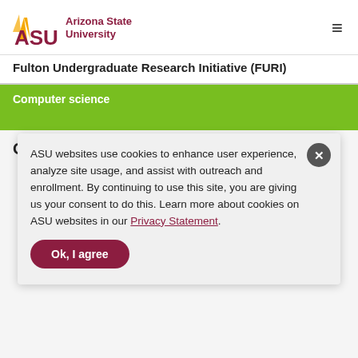[Figure (logo): Arizona State University logo with ASU text in maroon and gold sun graphic, alongside 'Arizona State University' text in maroon]
Fulton Undergraduate Research Initiative (FURI)
Computer science
Optimization of Future Urban Mobility
ASU websites use cookies to enhance user experience, analyze site usage, and assist with outreach and enrollment. By continuing to use this site, you are giving us your consent to do this. Learn more about cookies on ASU websites in our Privacy Statement.
Ok, I agree